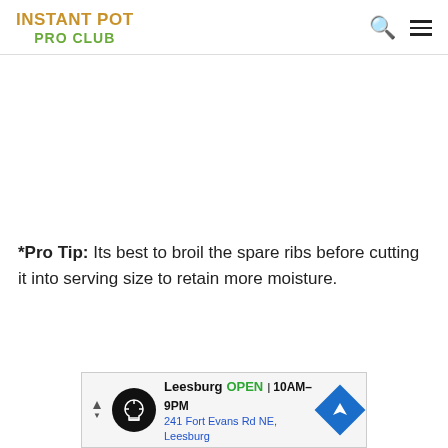INSTANT POT PRO CLUB
*Pro Tip: Its best to broil the spare ribs before cutting it into serving size to retain more moisture.
[Figure (other): Advertisement banner for Leesburg store showing logo, OPEN status, hours 10AM-9PM, address 241 Fort Evans Rd NE, Leesburg, and navigation icon]